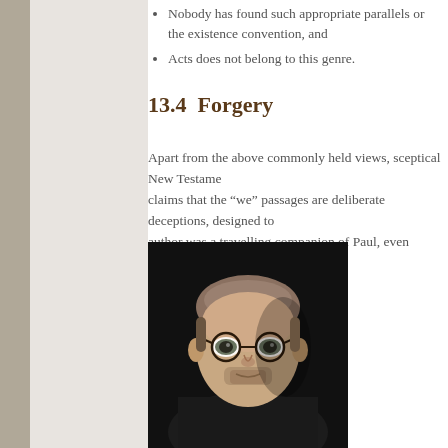Nobody has found such appropriate parallels or the existence convention, and
Acts does not belong to this genre.
13.4  Forgery
Apart from the above commonly held views, sceptical New Testament claims that the “we” passages are deliberate deceptions, designed to author was a travelling companion of Paul, even though he was not.
[Figure (photo): Black and white portrait photograph of a middle-aged man with glasses, beard stubble, wearing a dark shirt/jacket, against a dark background.]